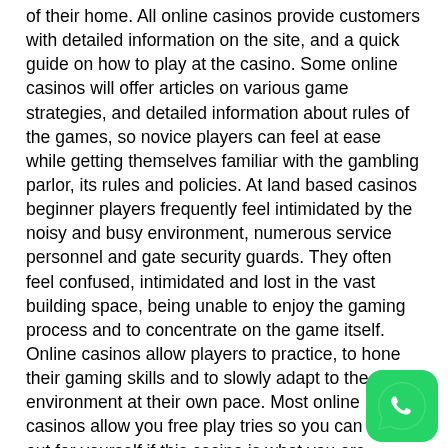of their home. All online casinos provide customers with detailed information on the site, and a quick guide on how to play at the casino. Some online casinos will offer articles on various game strategies, and detailed information about rules of the games, so novice players can feel at ease while getting themselves familiar with the gambling parlor, its rules and policies. At land based casinos beginner players frequently feel intimidated by the noisy and busy environment, numerous service personnel and gate security guards. They often feel confused, intimidated and lost in the vast building space, being unable to enjoy the gaming process and to concentrate on the game itself. Online casinos allow players to practice, to hone their gaming skills and to slowly adapt to the new environment at their own pace. Most online casinos allow you free play tries so you can find out for yourself if this casino is what you are looking for. You can even play for real money without the risk to lose your savings by using no deposit bonuses offered by some online casinos as incentives for new players.
[Figure (logo): WhatsApp green circular icon button in the bottom right corner]